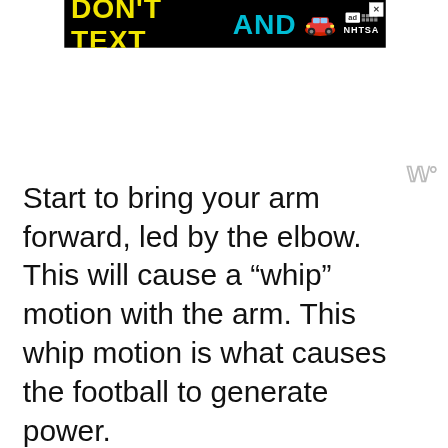[Figure (other): Advertisement banner: 'DON'T TEXT AND [car emoji]' with NHTSA ad badge and close button]
Start to bring your arm forward, led by the elbow. This will cause a “whip” motion with the arm. This whip motion is what causes the football to generate power.
Aim toward your target and throw the football to them. It’s essential to make sure your hand rolls over the football. Your index finger should be the la
[Figure (other): Bottom advertisement bar: True Food Kitchen, Reston OPEN 10:30AM-9PM, 11901 Democracy Dr, Reston, with navigation icon]